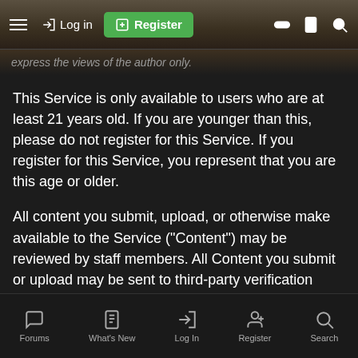→) Log in  [+] Register
express the views of the author only.
This Service is only available to users who are at least 21 years old. If you are younger than this, please do not register for this Service. If you register for this Service, you represent that you are this age or older.
All content you submit, upload, or otherwise make available to the Service ("Content") may be reviewed by staff members. All Content you submit or upload may be sent to third-party verification services (including, but not limited to, spam prevention services). Do not submit any Content that you consider to be private or confidential.
You agree to not use the Service to submit or link to any
Forums  What's New  Log In  Register  Search